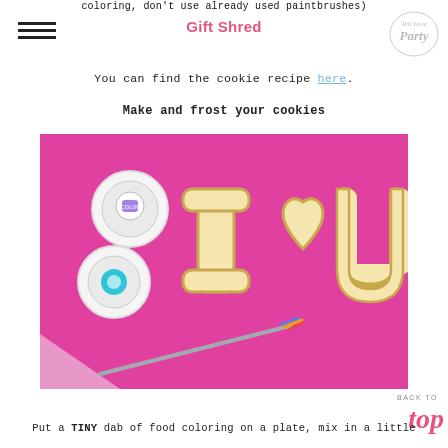coloring, don't use already used paintbrushes)
Gift Shred
You can find the cookie recipe here.
Make and frost your cookies
[Figure (photo): Photo on a bright pink/magenta background showing frosted letter cookies spelling 'I [heart] U' with two round food coloring containers and a small paintbrush in the foreground.]
BACK TO
top
Put a TINY dab of food coloring on a plate, mix in a little